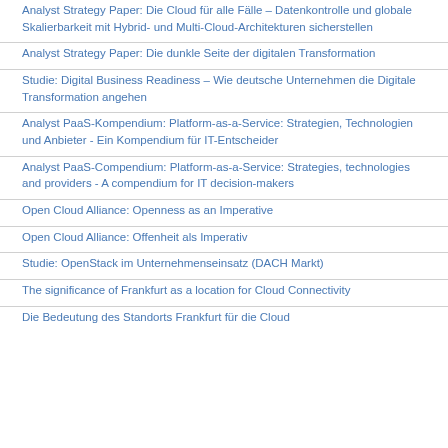Analyst Strategy Paper: Die Cloud für alle Fälle – Datenkontrolle und globale Skalierbarkeit mit Hybrid- und Multi-Cloud-Architekturen sicherstellen
Analyst Strategy Paper: Die dunkle Seite der digitalen Transformation
Studie: Digital Business Readiness – Wie deutsche Unternehmen die Digitale Transformation angehen
Analyst PaaS-Kompendium: Platform-as-a-Service: Strategien, Technologien und Anbieter - Ein Kompendium für IT-Entscheider
Analyst PaaS-Compendium: Platform-as-a-Service: Strategies, technologies and providers - A compendium for IT decision-makers
Open Cloud Alliance: Openness as an Imperative
Open Cloud Alliance: Offenheit als Imperativ
Studie: OpenStack im Unternehmenseinsatz (DACH Markt)
The significance of Frankfurt as a location for Cloud Connectivity
Die Bedeutung des Standorts Frankfurt für die Cloud